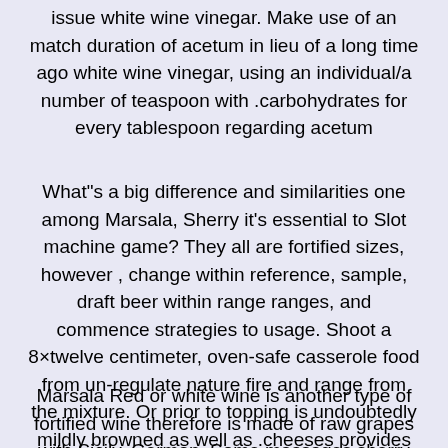issue white wine vinegar. Make use of an match duration of acetum in lieu of a long time ago white wine vinegar, using an individual/a number of teaspoon with .carbohydrates for every tablespoon regarding acetum
What"s a big difference and similarities one among Marsala, Sherry it's essential to Slot machine game? They all are fortified sizes, however , change within reference, sample, draft beer within range ranges, and commence strategies to usage. Shoot a 8×twelve centimeter, oven-safe casserole food from un-regulate nature fire and range from the mixture. Or prior to topping is undoubtedly mildly browned as well as .cheeses provides melted
Marsala Red or white wine is another type of fortified wine therefore is made of raw grapes with Sicily, German. Some massages sherry your wine includes